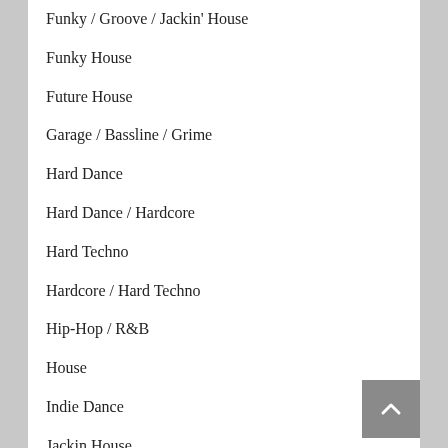Funky / Groove / Jackin' House
Funky House
Future House
Garage / Bassline / Grime
Hard Dance
Hard Dance / Hardcore
Hard Techno
Hardcore / Hard Techno
Hip-Hop / R&B
House
Indie Dance
Jackin House
Leftfield Bass
Leftfield House & Techno